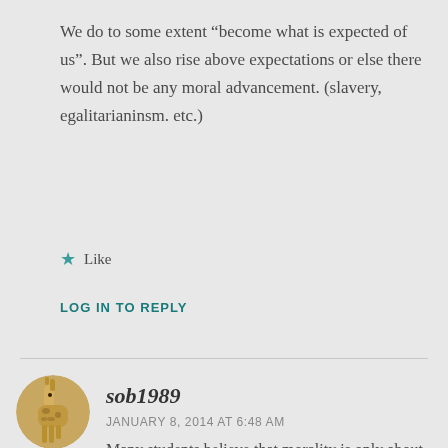We do to some extent “become what is expected of us”. But we also rise above expectations or else there would not be any moral advancement. (slavery, egalitarianinsm. etc.)
★ Like
LOG IN TO REPLY
sob1989
JANUARY 8, 2014 AT 6:48 AM
Many students believe that morality is only about sexual practices.